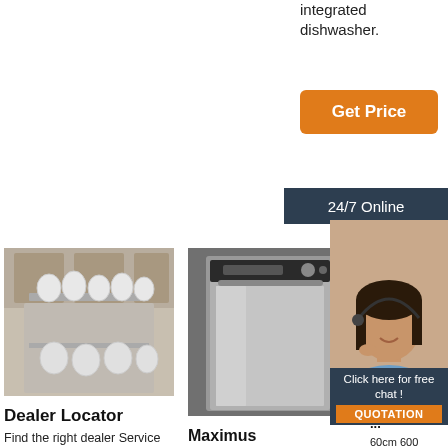integrated dishwasher.
Get Price
24/7 Online
Click here for free chat !
QUOTATION
[Figure (photo): Open dishwasher loaded with dishes in a kitchen]
Dealer Locator
Find the right dealer Service support for you! Search the Kitchen and Retail dealers closest to you by entering your address below. You can also filter by Specialist Stores,
[Figure (photo): Freestanding stainless steel dishwasher]
Maximus Dishwashers Philippines - The Greatest -
MAXIMUS (LATIN; 'THE GREATEST') Maximus dishwashers are made with top-quality materials
[Figure (photo): Kitchen scene with dishwasher]
Electro Built-In Standing Dishwashers ...
60cm 600 Series freestanding dishwasher with 13 place settings ESF5206LOW AirDry for 3x better drying performance*. Eco
[Figure (photo): Customer service representative with headset - 24/7 online chat support]